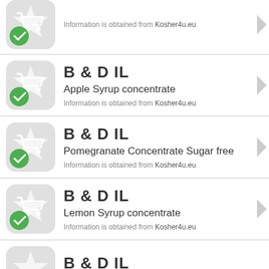B & D IL — (partial top, source: Kosher4u.eu)
B & D IL — Apple Syrup concentrate — Information is obtained from Kosher4u.eu
B & D IL — Pomegranate Concentrate Sugar free — Information is obtained from Kosher4u.eu
B & D IL — Lemon Syrup concentrate — Information is obtained from Kosher4u.eu
B & D IL — (partial bottom)